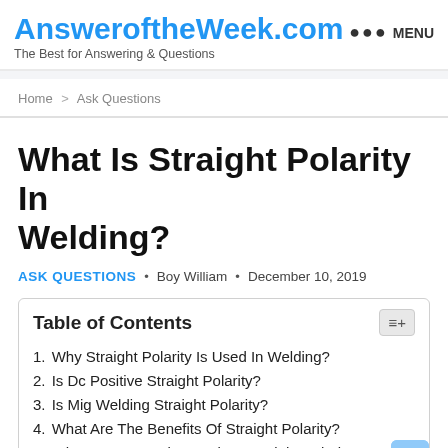AnsweroftheWeek.com — The Best for Answering & Questions — MENU
Home > Ask Questions
What Is Straight Polarity In Welding?
ASK QUESTIONS · Boy William · December 10, 2019
1. Why Straight Polarity Is Used In Welding?
2. Is Dc Positive Straight Polarity?
3. Is Mig Welding Straight Polarity?
4. What Are The Benefits Of Straight Polarity?
5. What Do You Understand By Straight Polarity In Welding?